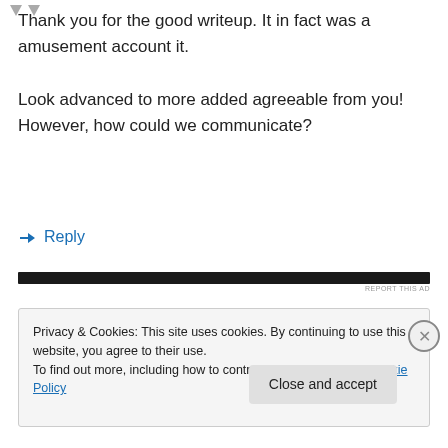[Figure (illustration): Two downward-pointing gray arrow/chevron icons at top left, partially visible]
Thank you for the good writeup. It in fact was a amusement account it.

Look advanced to more added agreeable from you! However, how could we communicate?
↵ Reply
[Figure (other): Dark horizontal advertisement bar with 'REPORT THIS AD' text to its right]
Privacy & Cookies: This site uses cookies. By continuing to use this website, you agree to their use.
To find out more, including how to control cookies, see here: Cookie Policy
Close and accept